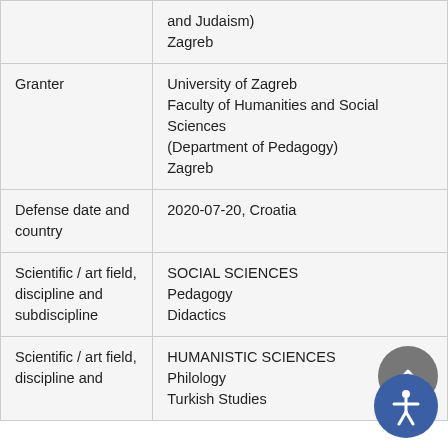| Field | Value |
| --- | --- |
|  | and Judaism)
Zagreb |
| Granter | University of Zagreb
Faculty of Humanities and Social Sciences
(Department of Pedagogy)
Zagreb |
| Defense date and country | 2020-07-20, Croatia |
| Scientific / art field, discipline and subdiscipline | SOCIAL SCIENCES
Pedagogy
Didactics |
| Scientific / art field, discipline and | HUMANISTIC SCIENCES
Philology
Turkish Studies |